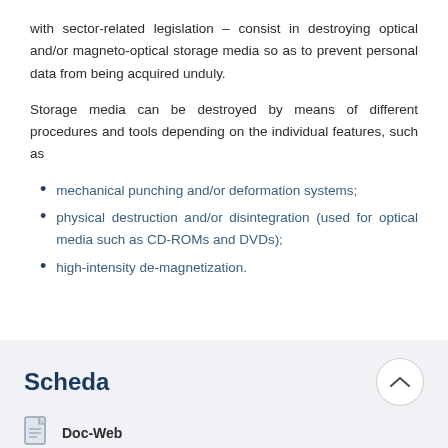with sector-related legislation – consist in destroying optical and/or magneto-optical storage media so as to prevent personal data from being acquired unduly.
Storage media can be destroyed by means of different procedures and tools depending on the individual features, such as
mechanical punching and/or deformation systems;
physical destruction and/or disintegration (used for optical media such as CD-ROMs and DVDs);
high-intensity de-magnetization.
Scheda
Doc-Web